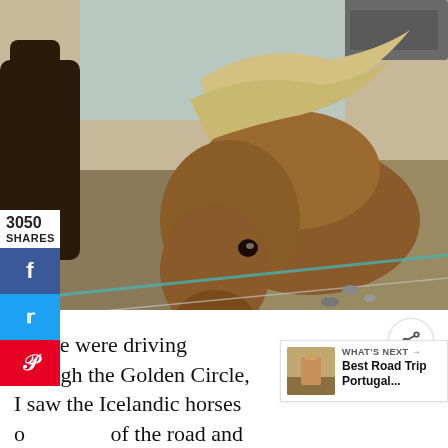[Figure (photo): Close-up photo of a fluffy brown Icelandic horse with a light-colored windblown mane, standing near a wire fence. A dark horse is visible to the left, and a vehicle is partially visible in the background. The setting appears to be a rural area with dry grass.]
3050
SHARES
f
y
p
3.1K
WHAT'S NEXT → Best Road Trip Portugal...
As we were driving through the Golden Circle, I saw the Icelandic horses o of the road and asked if we could stop to see